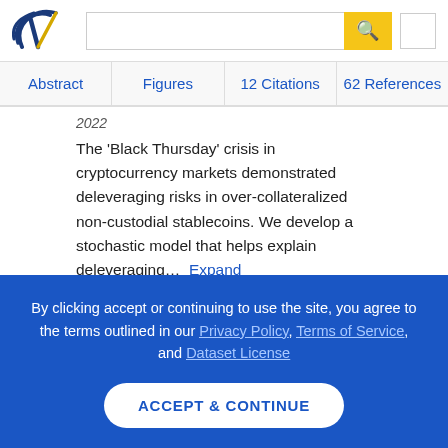[Figure (logo): Semantic Scholar logo - dark blue and yellow swoosh/book mark symbol]
Abstract | Figures | 12 Citations | 62 References
2022
The 'Black Thursday' crisis in cryptocurrency markets demonstrated deleveraging risks in over-collateralized non-custodial stablecoins. We develop a stochastic model that helps explain deleveraging... Expand
Add to Library | Alert
By clicking accept or continuing to use the site, you agree to the terms outlined in our Privacy Policy, Terms of Service, and Dataset License
ACCEPT & CONTINUE